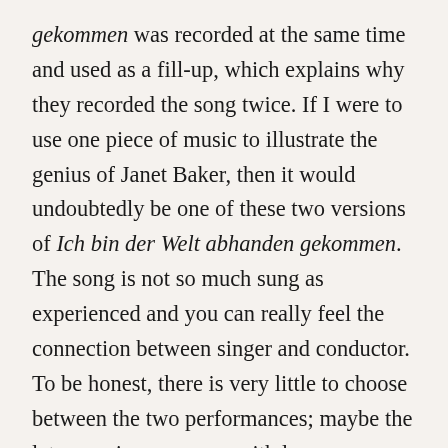gekommen was recorded at the same time and used as a fill-up, which explains why they recorded the song twice. If I were to use one piece of music to illustrate the genius of Janet Baker, then it would undoubtedly be one of these two versions of Ich bin der Welt abhanden gekommen. The song is not so much sung as experienced and you can really feel the connection between singer and conductor. To be honest, there is very little to choose between the two performances; maybe the later one is even more withdrawn, even more self-communing. When I listen to either I feel as if I too am lost to the world.

Disc fifteen is also one of the most desirable discs in